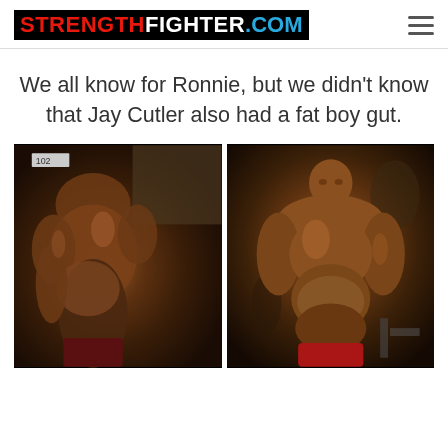STRENGTHFIGHTER.COM
We all know for Ronnie, but we didn’t know that Jay Cutler also had a fat boy gut.
[Figure (photo): Two side-by-side photos of professional bodybuilders showing their physiques backstage, both with heavily muscular builds.]